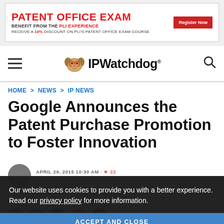[Figure (infographic): Advertisement banner: PATENT OFFICE EXAM - BENEFIT FROM THE PLI EXPERIENCE - RECEIVE A 10% DISCOUNT ON PLI'S PATENT OFFICE EXAM COURSE - Register Now button]
[Figure (logo): IPWatchdog logo with cartoon dog mascot and site name]
HOME > NEWS > IP NEWS
Google Announces the Patent Purchase Promotion to Foster Innovation
Our website uses cookies to provide you with a better experience. Read our privacy policy for more information.
ACCEPT AND CLOSE